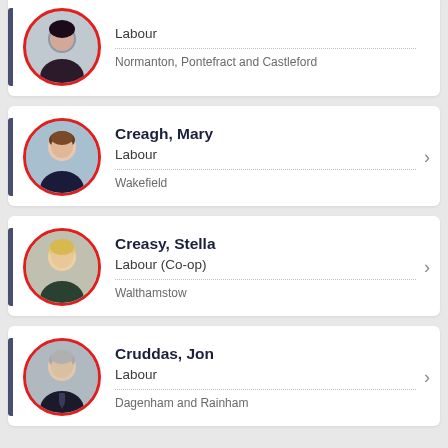[Figure (photo): Partial MP card at top of page showing a woman with dark hair, Labour party, Normanton, Pontefract and Castleford constituency]
Labour
Normanton, Pontefract and Castleford
[Figure (photo): MP photo of Mary Creagh, woman with brown hair and blue background]
Creagh, Mary
Labour
Wakefield
[Figure (photo): MP photo of Stella Creasy, woman with blonde hair]
Creasy, Stella
Labour (Co-op)
Walthamstow
[Figure (photo): MP photo of Jon Cruddas, man with grey hair wearing suit and tie]
Cruddas, Jon
Labour
Dagenham and Rainham